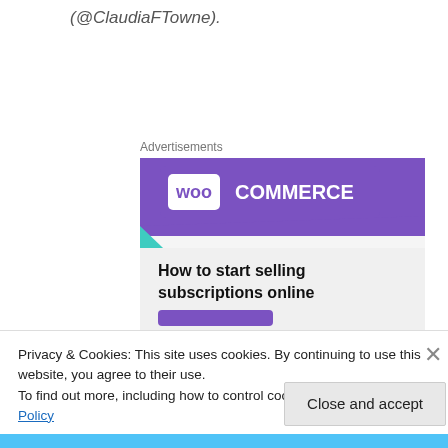(@ClaudiaFTowne).
Advertisements
[Figure (illustration): WooCommerce advertisement banner showing purple header with WooCommerce logo (woo in white box, COMMERCE in white text), teal triangle shape on left, light blue arc on right, and bold text 'How to start selling subscriptions online' on light gray background with a partially visible purple button at bottom.]
Privacy & Cookies: This site uses cookies. By continuing to use this website, you agree to their use.
To find out more, including how to control cookies, see here: Cookie Policy